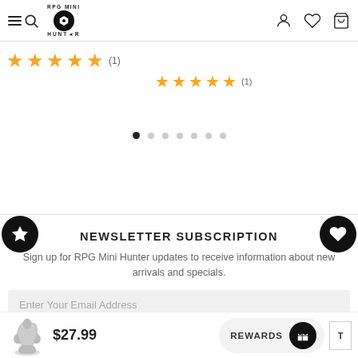[Figure (screenshot): Website header with hamburger/search icon, RPG Mini Hunter logo, and user/wishlist/cart icons on the right]
[Figure (other): Two 5-star review ratings: left side shows 5 stars with (1) review, right side shows 5 stars with (1) review]
[Figure (other): Carousel dots navigation: 7 dots, first dot is filled/active, rest are grey]
[Figure (other): Newsletter subscription section with star and heart icons, title, description text, and email input field]
NEWSLETTER SUBSCRIPTION
Sign up for RPG Mini Hunter updates to receive information about new arrivals and specials.
Enter Your Email Address
[Figure (other): Bottom bar with miniature figurine thumbnail, $27.99 price, REWARDS button, gift icon, and cart area]